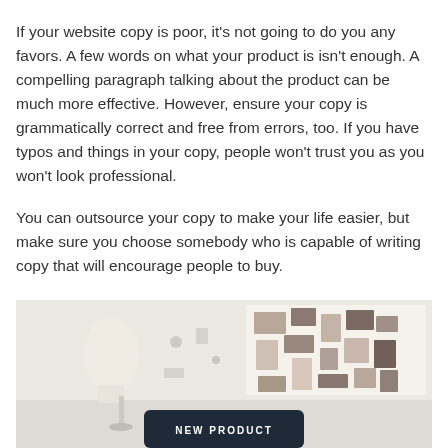If your website copy is poor, it's not going to do you any favors. A few words on what your product is isn't enough. A compelling paragraph talking about the product can be much more effective. However, ensure your copy is grammatically correct and free from errors, too. If you have typos and things in your copy, people won't trust you as you won't look professional.
You can outsource your copy to make your life easier, but make sure you choose somebody who is capable of writing copy that will encourage people to buy.
[Figure (photo): A fashion design studio scene showing a white dress mannequin torso on the left, a mood board wall with pinned photos and notes on the right, and a dark tablet or sign at the bottom center displaying 'NEW PRODUCT' in bold white uppercase letters.]